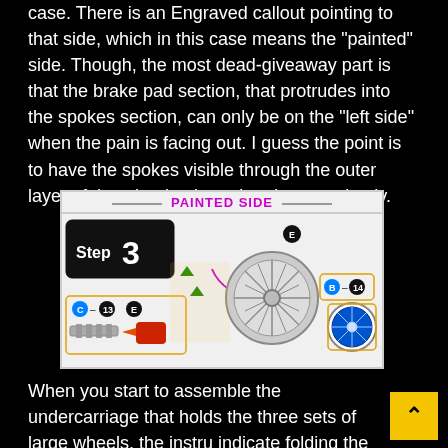case. There is an Engraved callout pointing to that side, which in this case means the "painted" side. Though, the most dead-giveaway part is that the brake pad section, that protrudes into the spokes section, can only be on the "left side" when the pain is facing out. I guess the point is to have the spokes visible through the outer layer of the wheel to be painted appropriately.
[Figure (illustration): Step 3 diagram showing painted side of a wheel assembly with labeled parts C-13, E, B-14, and arrows indicating assembly directions.]
When you start to assemble the undercarriage that holds the three sets of large wheels, the instru indicate folding the edges of part 20 completely